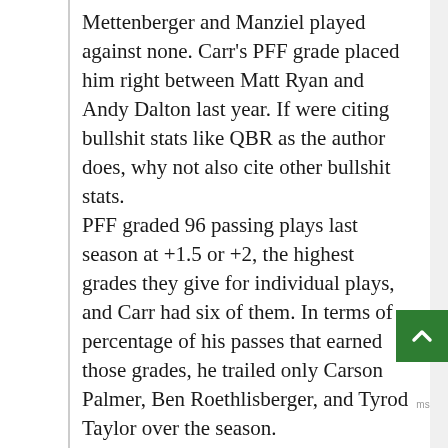Mettenberger and Manziel played against none. Carr's PFF grade placed him right between Matt Ryan and Andy Dalton last year. If were citing bullshit stats like QBR as the author does, why not also cite other bullshit stats.
PFF graded 96 passing plays last season at +1.5 or +2, the highest grades they give for individual plays, and Carr had six of them. In terms of percentage of his passes that earned those grades, he trailed only Carson Palmer, Ben Roethlisberger, and Tyrod Taylor over the season.
The argument that Carr falters under pressure is mistaken at best and completely unfounded at most. Per PFF, Carr was actually ranked top 1... against the blitz last season. As a matter of fact, Carr was leading the league in passer rating against blitzes as late as late November with a rating of 131.8, 36.7 better facing a blitz then not